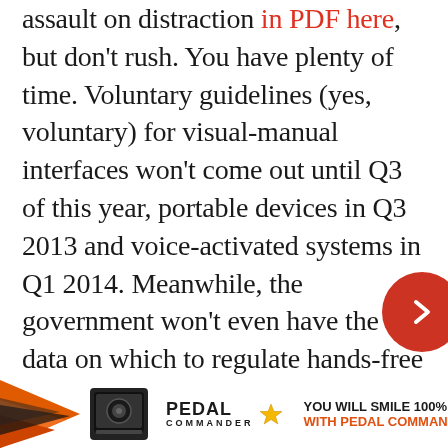assault on distraction in PDF here, but don't rush. You have plenty of time. Voluntary guidelines (yes, voluntary) for visual-manual interfaces won't come out until Q3 of this year, portable devices in Q3 2013 and voice-activated systems in Q1 2014. Meanwhile, the government won't even have the data on which to regulate hands-free systems until Q1 2012. So, even though most research shows little change in distraction between a hands-free and handheld device, the industry should be able to sell a grip of hands-free and voice-activated systems before the government is even s...
[Figure (other): Pedal Commander advertisement banner with orange/black graphic device image, Pedal Commander logo with star, and text 'YOU WILL SMILE 100% WITH PEDAL COMMANDER']